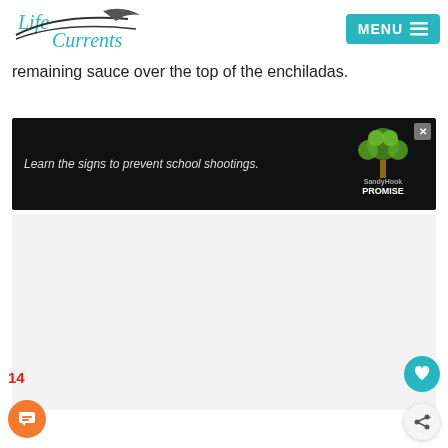Life Currents — MENU
remaining sauce over the top of the enchiladas.
[Figure (other): Sandy Hook Promise advertisement: 'Learn the signs to prevent school shootings.' with a tree logo made of green dots on a dark background.]
14